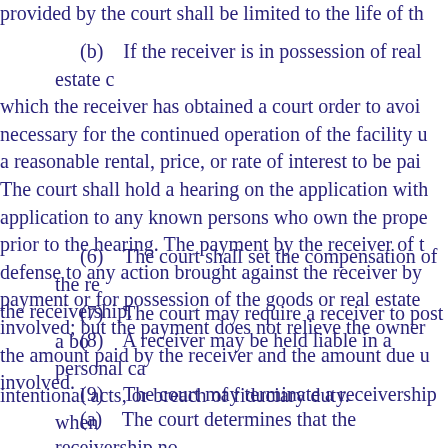provided by the court shall be limited to the life of th...
(b) If the receiver is in possession of real estate c... which the receiver has obtained a court order to avoi... necessary for the continued operation of the facility u... a reasonable rental, price, or rate of interest to be pai... The court shall hold a hearing on the application with... application to any known persons who own the prope... prior to the hearing. The payment by the receiver of t... defense to any action brought against the receiver by... payment or for possession of the goods or real estate... involved; but the payment does not relieve the owner... the amount paid by the receiver and the amount due u... involved.
(6) The court shall set the compensation of the re... the receivership.
(7) The court may require a receiver to post a bo...
(8) A receiver may be held liable in a personal ca... intentional acts, or breach of fiduciary duty.
(9) The court may terminate a receivership when...
(a) The court determines that the receivership no... to the receivership no longer exist; or
(b) All of the residents in the facility have been t...
(10) Within 30 days after termination of the rec...